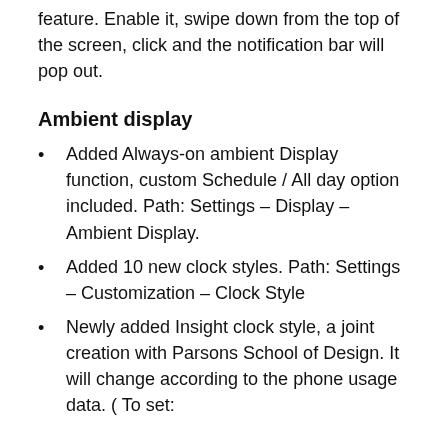feature. Enable it, swipe down from the top of the screen, click and the notification bar will pop out.
Ambient display
Added Always-on ambient Display function, custom Schedule / All day option included. Path: Settings – Display – Ambient Display.
Added 10 new clock styles. Path: Settings – Customization – Clock Style
Newly added Insight clock style, a joint creation with Parsons School of Design. It will change according to the phone usage data. ( To set: